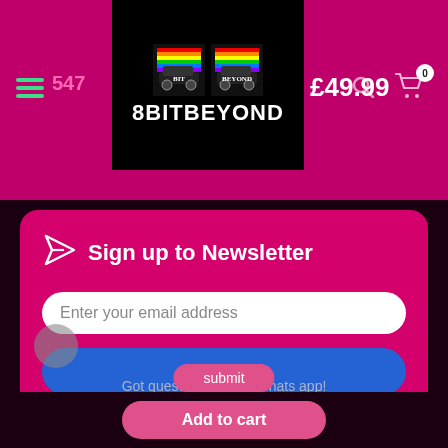[Figure (logo): 8BITBEYOND logo with two rainbow-colored pixel car images on black background with white bold text 8BITBEYOND]
547
£49.99
Sign up to Newsletter
Enter your email address
Subscribe
🍪 This website uses cookies to ensure you get the best experience on our website. Learn more
Got questions? Call / Whats app!
submit
Add to cart